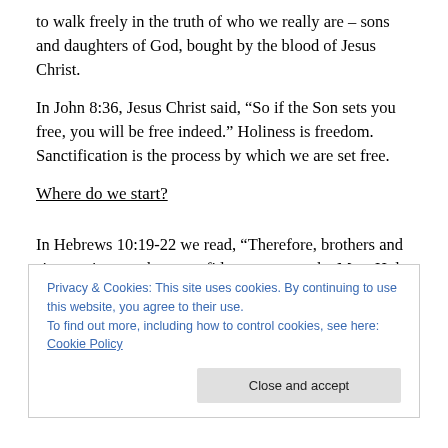to walk freely in the truth of who we really are – sons and daughters of God, bought by the blood of Jesus Christ.
In John 8:36, Jesus Christ said, “So if the Son sets you free, you will be free indeed.” Holiness is freedom. Sanctification is the process by which we are set free.
Where do we start?
In Hebrews 10:19-22 we read, “Therefore, brothers and sisters, since we have confidence to enter the Most Holy Place by the blood of Jesus, by a new and living way
Privacy & Cookies: This site uses cookies. By continuing to use this website, you agree to their use.
To find out more, including how to control cookies, see here: Cookie Policy
Close and accept